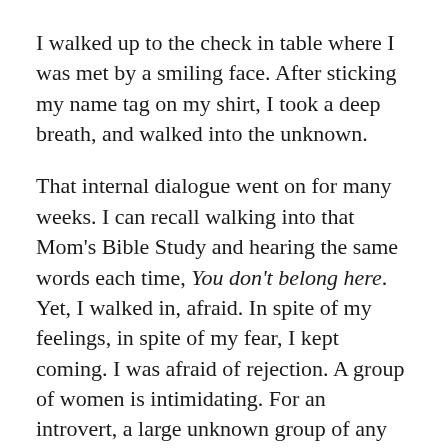I walked up to the check in table where I was met by a smiling face. After sticking my name tag on my shirt, I took a deep breath, and walked into the unknown.
That internal dialogue went on for many weeks. I can recall walking into that Mom's Bible Study and hearing the same words each time, You don't belong here. Yet, I walked in, afraid. In spite of my feelings, in spite of my fear, I kept coming. I was afraid of rejection. A group of women is intimidating. For an introvert, a large unknown group of any type is panic inducing.
Why did I do it? Because the potential reward was greater than the risk. Because God was calling me to it. I needed a mom-community. I needed friendship, discipleship, mom help...